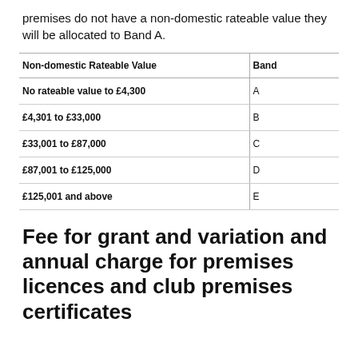premises do not have a non-domestic rateable value they will be allocated to Band A.
| Non-domestic Rateable Value | Band |
| --- | --- |
| No rateable value to £4,300 | A |
| £4,301 to £33,000 | B |
| £33,001 to £87,000 | C |
| £87,001 to £125,000 | D |
| £125,001 and above | E |
Fee for grant and variation and annual charge for premises licences and club premises certificates